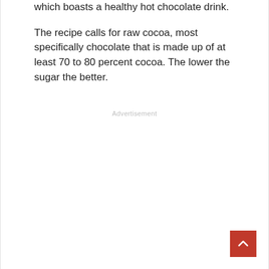which boasts a healthy hot chocolate drink.
The recipe calls for raw cocoa, most specifically chocolate that is made up of at least 70 to 80 percent cocoa. The lower the sugar the better.
Advertisement